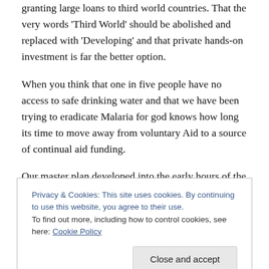granting large loans to third world countries. That the very words 'Third World' should be abolished and replaced with 'Developing' and that private hands-on investment is far the better option.
When you think that one in five people have no access to safe drinking water and that we have been trying to eradicate Malaria for god knows how long its time to move away from voluntary Aid to a source of continual aid funding.
Our master plan developed into the early hours of the
Privacy & Cookies: This site uses cookies. By continuing to use this website, you agree to their use.
To find out more, including how to control cookies, see here: Cookie Policy
be brought into the United Nations and made sign a